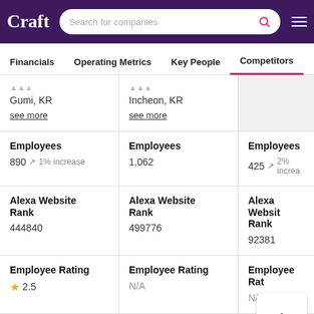Craft — Search for companies
Financials | Operating Metrics | Key People | Competitors
| Col1 | Col2 | Col3 |
| --- | --- | --- |
| Gumi, KR
see more | Incheon, KR
see more |  |
| Employees
890 ~1% increase | Employees
1,062 | Employees
425 ~2% increase |
| Alexa Website Rank
444840 | Alexa Website Rank
499776 | Alexa Website Rank
92381 |
| Employee Rating
★ 2.5 | Employee Rating
N/A | Employee Rating
N/A |
Overview   Charts